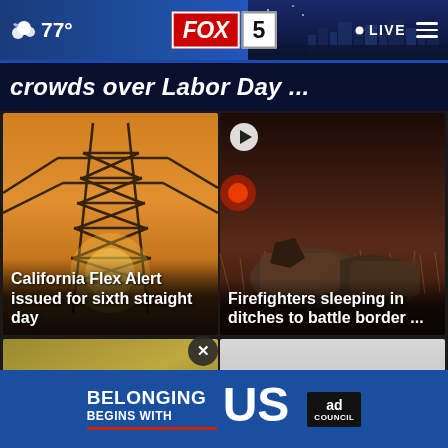FOX 5 — 77° — LIVE
crowds over Labor Day ...
[Figure (photo): Power transmission tower silhouetted against orange sunset sky]
California Flex Alert issued for sixth straight day
[Figure (photo): Firefighter gear and sleeping equipment lying in dry grass at night near emergency lights]
Firefighters sleeping in ditches to battle border ...
[Figure (photo): Partial golden sign visible at bottom left]
[Figure (photo): Light colored background with play button at bottom right]
[Figure (infographic): Ad banner: BELONGING BEGINS WITH US — Ad Council]